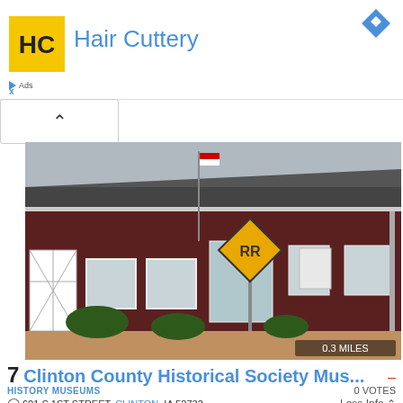[Figure (other): Hair Cuttery advertisement banner with yellow logo, blue text title, and blue diamond navigation icon]
[Figure (photo): Exterior photo of Clinton County Historical Society Museum, a dark red/maroon building from 1858 with a railroad crossing sign in front, American flag on pole, showing 0.3 MILES distance badge]
7 Clinton County Historical Society Mus...
HISTORY MUSEUMS
0 VOTES
601 S 1ST STREET, CLINTON, IA 52732
Less Info
Housed in a building from 1858, the Clinton County Historical Society Museum gives visitors a glimpse into the lives of the locals throughout time. Visitors can explore historical documents, photographs and artifacts,